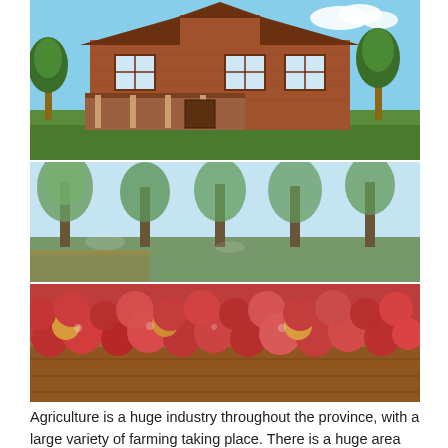[Figure (photo): Top: A red brick Victorian farmhouse with porch, surrounded by green lawn and trees under blue sky. Middle: An apple orchard with trees in rows, green and blurred background. Bottom: A wooden crate filled with red apples in the foreground.]
Agriculture is a huge industry throughout the province, with a large variety of farming taking place. There is a huge area devoted to grapes and apple crops in southern Ontario, while cattle farming is found everywhere. Corn, berries, root vegetables, the list is endless. Ontario boasts the Holland Marsh which is the salad bowl for the area with some of the richest soil in the world. Since Ontario is such a large province, it has a lot to offer both in the cities and in the northern regions. Other industries include Forestry, Mining, and the Service Industry as Toronto is a huge tourist destination for non-